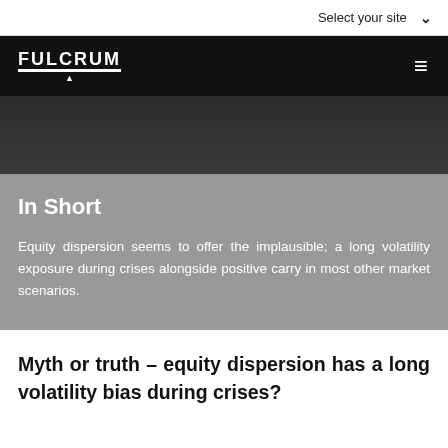Select your site
[Figure (logo): Fulcrum asset management logo with white text on black navigation bar with hamburger menu icon]
[Figure (photo): Dark textured banner image with stone/leather texture in dark gray tones]
In Short
Equity dispersion seems to offer the implausible; a long volatility exposure during crises alongside positive carry in most other market scenarios.
Myth or truth – equity dispersion has a long volatility bias during crises?